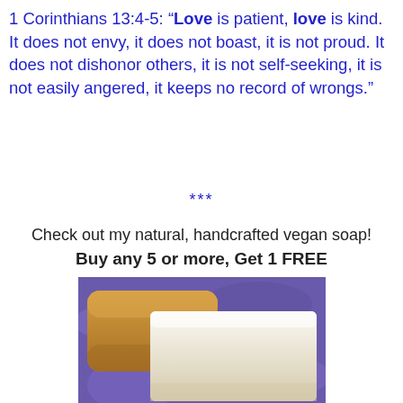1 Corinthians 13:4-5: “Love is patient, love is kind. It does not envy, it does not boast, it is not proud. It does not dishonor others, it is not self-seeking, it is not easily angered, it keeps no record of wrongs.”
***
Check out my natural, handcrafted vegan soap!
Buy any 5 or more, Get 1 FREE
[Figure (photo): Two bars of natural handcrafted vegan soap — one amber/tan colored bar and one white/cream colored bar — resting on a purple floral fabric background.]